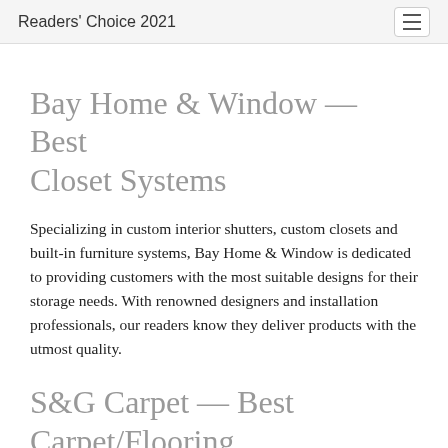Readers' Choice 2021
Bay Home & Window — Best Closet Systems
Specializing in custom interior shutters, custom closets and built-in furniture systems, Bay Home & Window is dedicated to providing customers with the most suitable designs for their storage needs. With renowned designers and installation professionals, our readers know they deliver products with the utmost quality.
S&G Carpet — Best Carpet/Flooring